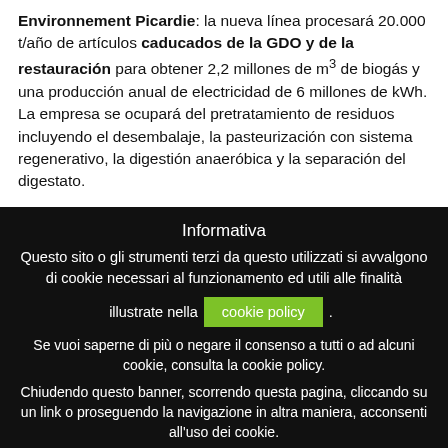Environnement Picardie: la nueva línea procesará 20.000 t/año de artículos caducados de la GDO y de la restauración para obtener 2,2 millones de m³ de biogás y una producción anual de electricidad de 6 millones de kWh. La empresa se ocupará del pretratamiento de residuos incluyendo el desembalaje, la pasteurización con sistema regenerativo, la digestión anaeróbica y la separación del digestato.
Informativa
Questo sito o gli strumenti terzi da questo utilizzati si avvalgono di cookie necessari al funzionamento ed utili alle finalità illustrate nella cookie policy.
Se vuoi saperne di più o negare il consenso a tutti o ad alcuni cookie, consulta la cookie policy.
Chiudendo questo banner, scorrendo questa pagina, cliccando su un link o proseguendo la navigazione in altra maniera, acconsenti all'uso dei cookie.
Accetta